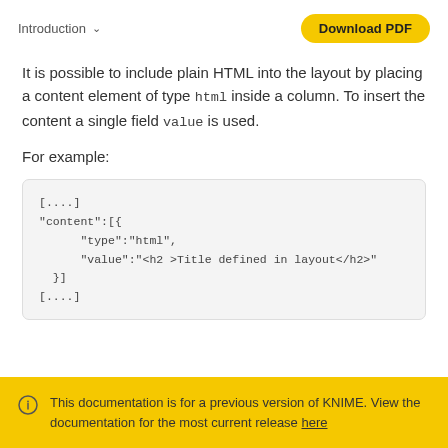Introduction  Download PDF
It is possible to include plain HTML into the layout by placing a content element of type html inside a column. To insert the content a single field value is used.
For example:
[....]
"content":[{
    "type":"html",
    "value":"<h2 >Title defined in layout</h2>"
  }]
[....]
This documentation is for a previous version of KNIME. View the documentation for the most current release here